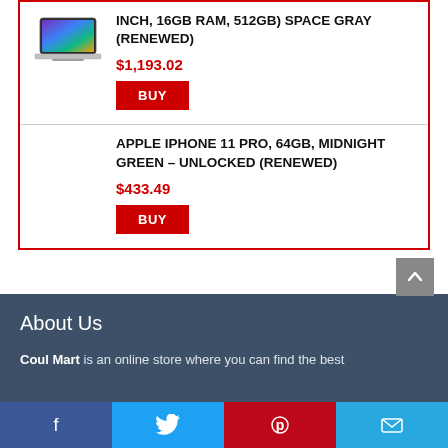[Figure (photo): MacBook Pro laptop thumbnail image]
INCH, 16GB RAM, 512GB) SPACE GRAY (RENEWED)
$1,193.02
BUY
APPLE IPHONE 11 PRO, 64GB, MIDNIGHT GREEN – UNLOCKED (RENEWED)
$433.49
BUY
About Us
Coul Mart is an online store where you can find the best
Facebook | Twitter | Pinterest | Email